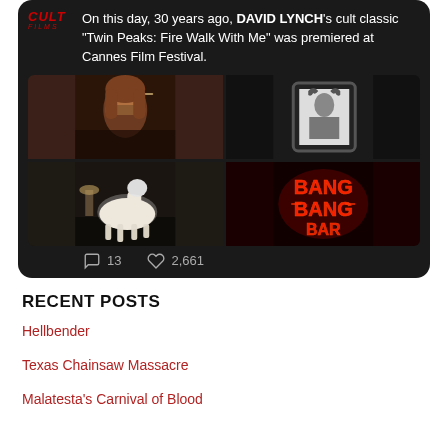[Figure (screenshot): Social media post on dark background. Logo reading 'CULT' in red italic. Text: 'On this day, 30 years ago, DAVID LYNCH's cult classic "Twin Peaks: Fire Walk With Me" was premiered at Cannes Film Festival.' Below is a 2x2 grid of movie stills. Stats show 13 comments and 2,661 likes.]
RECENT POSTS
Hellbender
Texas Chainsaw Massacre
Malatesta's Carnival of Blood